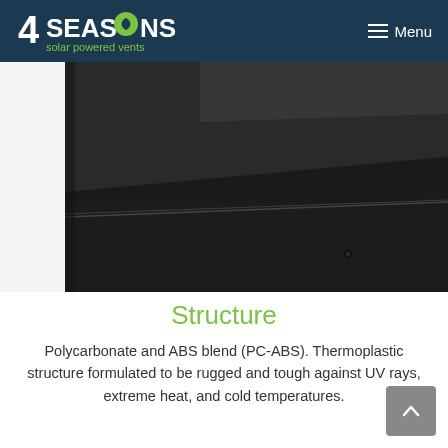4SEASONS solar powered vents — Menu
[Figure (photo): Close-up photo of a dark/black solar vent panel showing the corner with a rounded edge, a small mounting hole, and two layers — a smooth black top panel and a textured black base. White background surround.]
Structure
Polycarbonate and ABS blend (PC-ABS). Thermoplastic structure formulated to be rugged and tough against UV rays, extreme heat, and cold temperatures.